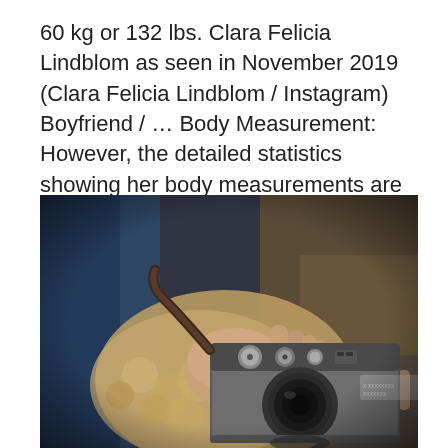60 kg or 132 lbs. Clara Felicia Lindblom as seen in November 2019 (Clara Felicia Lindblom / Instagram) Boyfriend / ... Body Measurement: However, the detailed statistics showing her body measurements are not known.
[Figure (photo): Close-up photo of a person holding a vintage-style camera. The person is wearing a blue denim jacket and a tan/camel shearling fleece garment. The camera is silver and black with visible dials and controls on top.]